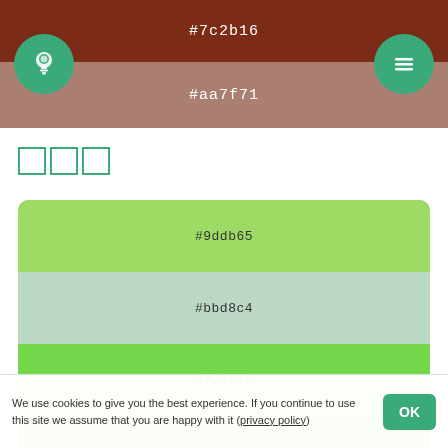[Figure (infographic): Header banner with dark brownish-red top (#7c2b16) and lighter pink-brown bottom (#aa7f71), with a teal circular icon (lightbulb) on the left and teal circular icon (menu) on the right. Color hex labels #7c2b16 and #aa7f71 displayed in center.]
□□□
[Figure (infographic): Color palette card showing five horizontal color swatches: #9ddb65 (light green), #bbd8c4 (light grey-green), #72d74b (medium green), #5dae37 (darker green), #436f2c (dark green)]
□□
[Figure (infographic): Color palette card showing color swatch #52669b (muted blue-purple), partially visible]
We use cookies to give you the best experience. If you continue to use this site we assume that you are happy with it (privacy policy)